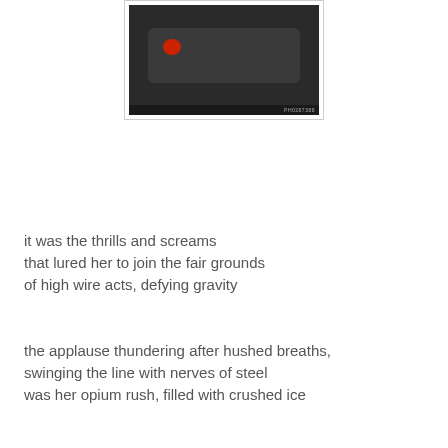[Figure (photo): Dark image of what appears to be a dumbbell or weight equipment on a dark background, with a small red light visible. A label or watermark appears at the bottom right of the image.]
it was the thrills and screams
that lured her to join the fair grounds
of high wire acts, defying gravity
the applause thundering after hushed breaths,
swinging the line with nerves of steel
was her opium rush, filled with crushed ice
but today, her chest is a desert
moat of sand clings to trembling fingers
from nearly squishing the squirrel that unexpectedly ran
towards her car on the road for a massage appointment